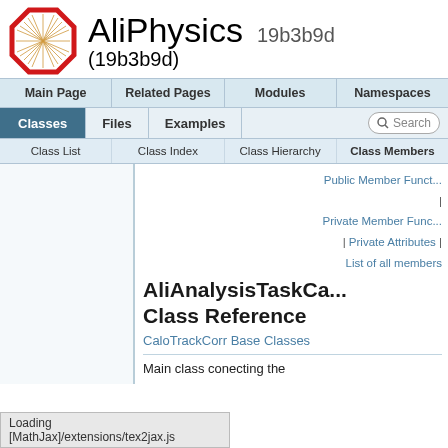AliPhysics 19b3b9d (19b3b9d)
[Figure (logo): AliPhysics logo: red octagon with radial starburst pattern inside]
Public Member Functions | Private Member Functions | Private Attributes | List of all members
AliAnalysisTaskCa... Class Reference
CaloTrackCorr Base Classes
Main class conecting the
Loading [MathJax]/extensions/tex2jax.js